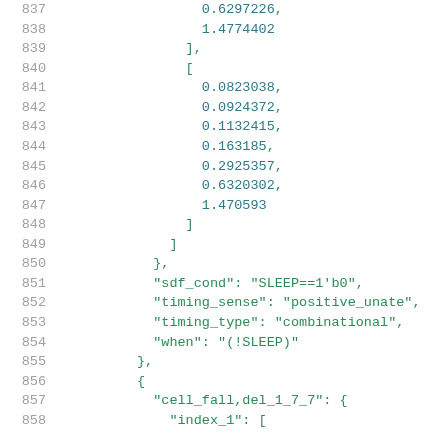Code listing lines 837-858 showing JSON/Liberty format data with numeric arrays and timing properties